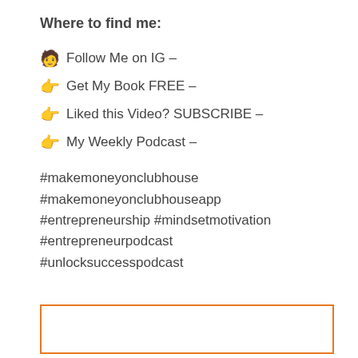Where to find me:
🫵 Follow Me on IG –
👉 Get My Book FREE –
👉 Liked this Video? SUBSCRIBE –
👉 My Weekly Podcast –
#makemoneyonclubhouse
#makemoneyonclubhouseapp
#entrepreneurship #mindsetmotivation
#entrepreneurpodcast
#unlocksuccesspodcast
[Figure (other): Empty orange-bordered rectangle box at the bottom of the page]